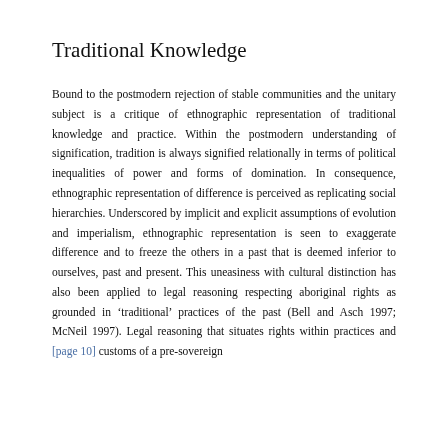Traditional Knowledge
Bound to the postmodern rejection of stable communities and the unitary subject is a critique of ethnographic representation of traditional knowledge and practice. Within the postmodern understanding of signification, tradition is always signified relationally in terms of political inequalities of power and forms of domination. In consequence, ethnographic representation of difference is perceived as replicating social hierarchies. Underscored by implicit and explicit assumptions of evolution and imperialism, ethnographic representation is seen to exaggerate difference and to freeze the others in a past that is deemed inferior to ourselves, past and present. This uneasiness with cultural distinction has also been applied to legal reasoning respecting aboriginal rights as grounded in ‘traditional’ practices of the past (Bell and Asch 1997; McNeil 1997). Legal reasoning that situates rights within practices and [page 10] customs of a pre-sovereign